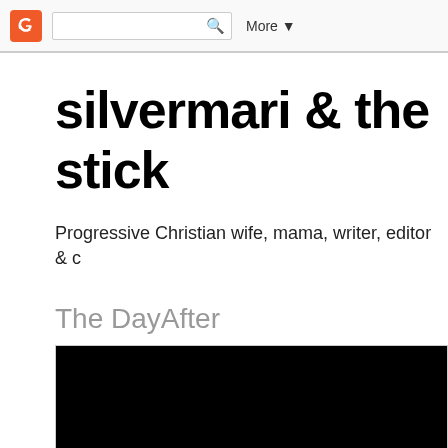Blogger navigation bar with search box and More button
silvermari & the stick
Progressive Christian wife, mama, writer, editor & c
The DayAfter
[Figure (photo): Black image/video thumbnail for the blog post 'The DayAfter']